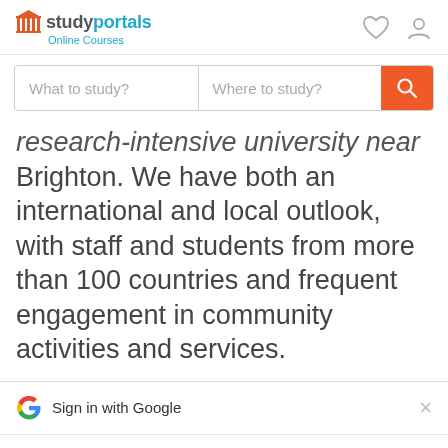studyportals Online Courses
What to study?   Where to study?
research-intensive university near Brighton. We have both an international and local outlook, with staff and students from more than 100 countries and frequent engagement in community activities and services.
Sign in with Google
Use your Google Account to sign in to StudyPortals
No more passwords to remember.